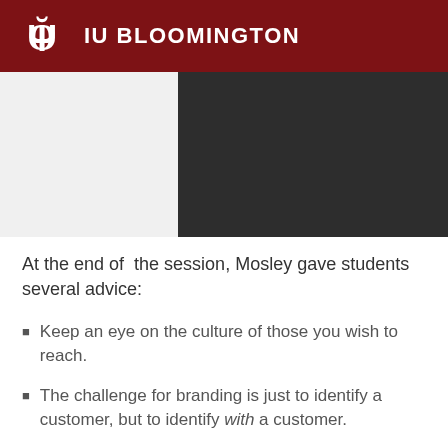IU BLOOMINGTON
[Figure (screenshot): Video player or media area with dark background on the right side and light background on the left side]
At the end of  the session, Mosley gave students several advice:
Keep an eye on the culture of those you wish to reach.
The challenge for branding is just to identify a customer, but to identify with a customer.
You have to understand the culture. You have to understand what we are saying. It's gonna require a